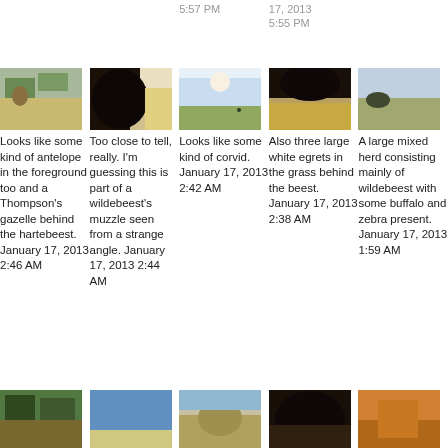5:57 PM
17, 2013
5:55 PM
[Figure (photo): Outdoor field photo with antelope]
Looks like some kind of antelope in the foreground too and a Thompson's gazelle behind the hartebeest. January 17, 2013 2:46 AM
[Figure (photo): Close-up photo, possibly wildebeest muzzle]
Too close to tell, really. I'm guessing this is part of a wildebeest's muzzle seen from a strange angle. January 17, 2013 2:44 AM
[Figure (photo): Wide field photo with small figure]
Looks like some kind of corvid. January 17, 2013 2:42 AM
[Figure (photo): Large animal close-up in grass]
Also three large white egrets in the grass behind the beest. January 17, 2013 2:38 AM
[Figure (photo): Wide outdoor landscape with herd]
A large mixed herd consisting mainly of wildebeest with some buffalo and zebra present. January 17, 2013 1:59 AM
[Figure (photo): Bottom row photo 1 - trees landscape]
[Figure (photo): Bottom row photo 2 - blue sky]
[Figure (photo): Bottom row photo 3 - animal]
[Figure (photo): Bottom row photo 4 - dark animal]
[Figure (photo): Bottom row photo 5 - orange/brown close-up]